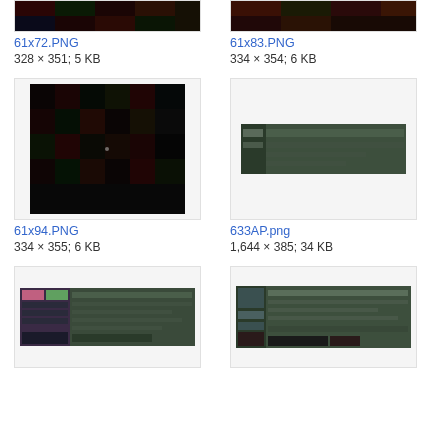[Figure (screenshot): Partial thumbnail top-left, dark pixelated image]
[Figure (screenshot): Partial thumbnail top-right, dark orange/green pixelated image]
61x72.PNG
328 × 351; 5 KB
61x83.PNG
334 × 354; 6 KB
[Figure (screenshot): Thumbnail of dark pixelated/mosaic image (61x94.PNG)]
[Figure (screenshot): Thumbnail of dark green/teal terminal or UI screenshot (633AP.png)]
61x94.PNG
334 × 355; 6 KB
633AP.png
1,644 × 385; 34 KB
[Figure (screenshot): Thumbnail of colorful UI/terminal screenshot (bottom left)]
[Figure (screenshot): Thumbnail of dark green/teal UI screenshot (bottom right)]